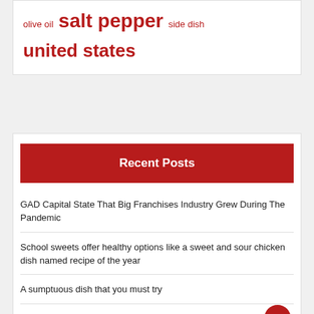olive oil  salt pepper  side dish
united states
Recent Posts
GAD Capital State That Big Franchises Industry Grew During The Pandemic
School sweets offer healthy options like a sweet and sour chicken dish named recipe of the year
A sumptuous dish that you must try
Wedgwood porcelain serves memories by the bowl